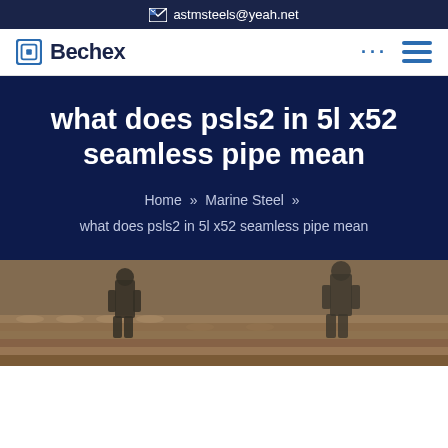astmsteels@yeah.net
Bechex
what does psls2 in 5l x52 seamless pipe mean
Home » Marine Steel » what does psls2 in 5l x52 seamless pipe mean
[Figure (photo): Workers standing among stacked steel pipes in a warehouse or industrial yard]